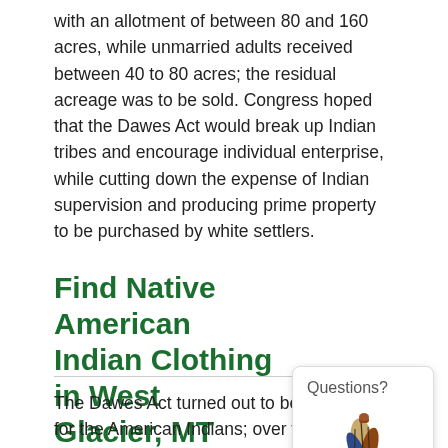with an allotment of between 80 and 160 acres, while unmarried adults received between 40 to 80 acres; the residual acreage was to be sold. Congress hoped that the Dawes Act would break up Indian tribes and encourage individual enterprise, while cutting down the expense of Indian supervision and producing prime property to be purchased by white settlers.
Find Native American Indian Clothing in West Glacier, MT
The Dawes Act turned out to be disastrous for the American Indians; over the next decades they lived under policies that outlawed their traditional way of living